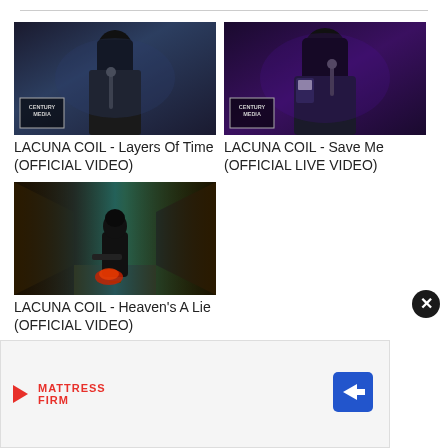[Figure (screenshot): Video thumbnail: LACUNA COIL - Layers Of Time (OFFICIAL VIDEO), dark female singer with microphone, Century Media logo]
LACUNA COIL - Layers Of Time (OFFICIAL VIDEO)
[Figure (screenshot): Video thumbnail: LACUNA COIL - Save Me (OFFICIAL LIVE VIDEO), dark male singer with microphone, Century Media logo]
LACUNA COIL - Save Me (OFFICIAL LIVE VIDEO)
[Figure (screenshot): Video thumbnail: LACUNA COIL - Heaven's A Lie (OFFICIAL VIDEO), stylized game-like scene with dark figure in tunnel]
LACUNA COIL - Heaven's A Lie (OFFICIAL VIDEO)
[Figure (screenshot): Advertisement banner: Mattress Firm logo with navigation arrow icon and close button]